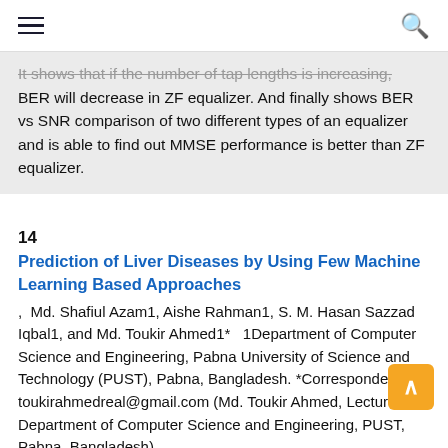hamburger menu | search icon
It shows that if the number of tap lengths is increasing, BER will decrease in ZF equalizer. And finally shows BER vs SNR comparison of two different types of an equalizer and is able to find out MMSE performance is better than ZF equalizer.
14
Prediction of Liver Diseases by Using Few Machine Learning Based Approaches
, Md. Shafiul Azam1, Aishe Rahman1, S. M. Hasan Sazzad Iqbal1, and Md. Toukir Ahmed1* 1Department of Computer Science and Engineering, Pabna University of Science and Technology (PUST), Pabna, Bangladesh. *Correspondence: toukirahmedreal@gmail.com (Md. Toukir Ahmed, Lecturer, Department of Computer Science and Engineering, PUST, Pabna, Bangladesh).
Advancement in medical science has always been one of the most vital aspects of the human race. With the progress in technology, the use of modern techniques and equipment is always imposed on treatment purposes. Nowadays, machine learning techniques have widely been